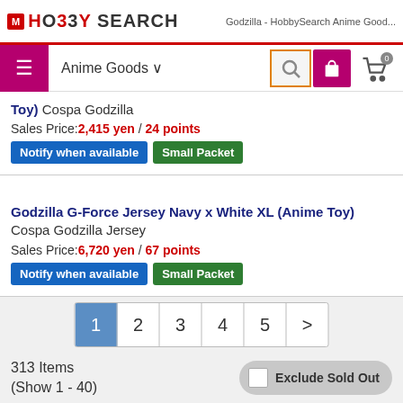HobbySearch — Godzilla - HobbySearch Anime Good...
Anime Goods
Toy) Cospa Godzilla — Sales Price: 2,415 yen / 24 points — Notify when available | Small Packet
Godzilla G-Force Jersey Navy x White XL (Anime Toy) Cospa Godzilla Jersey — Sales Price: 6,720 yen / 67 points — Notify when available | Small Packet
Godzilla G-Force Jersey Navy x White L (Anime Toy) Cospa Godzilla Jersey — Sales Price: 6,720 yen / 67 points — Notify when available | Small Packet
313 Items (Show 1 - 40)  Exclude Sold Out  Pagination: 1 2 3 4 5 >